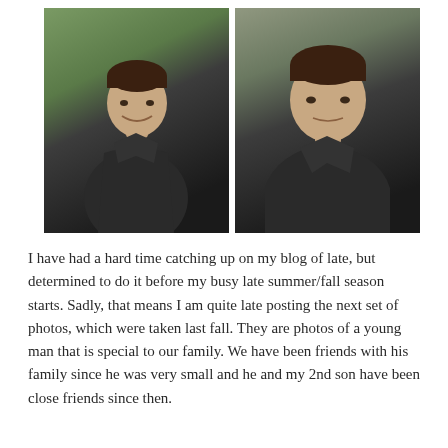[Figure (photo): Two side-by-side portrait photos of a young man wearing a dark grey zip-up fleece jacket over a black shirt. Left photo shows full upper body, smiling, outdoors with green leafy background. Right photo is a closer headshot, more serious expression, similar outdoor background.]
I have had a hard time catching up on my blog of late, but determined to do it before my busy late summer/fall season starts. Sadly, that means I am quite late posting the next set of photos, which were taken last fall. They are photos of a young man that is special to our family. We have been friends with his family since he was very small and he and my 2nd son have been close friends since then.